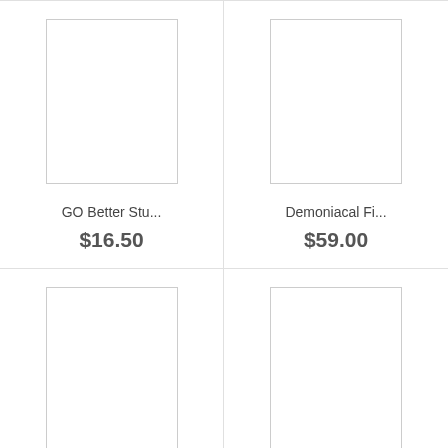[Figure (photo): Product image placeholder box (top-left)]
GO Better Stu...
$16.50
[Figure (photo): Product image placeholder box (top-right)]
Demoniacal Fi...
$59.00
[Figure (photo): Product image placeholder box (bottom-left)]
[Figure (photo): Product image placeholder box (bottom-right)]